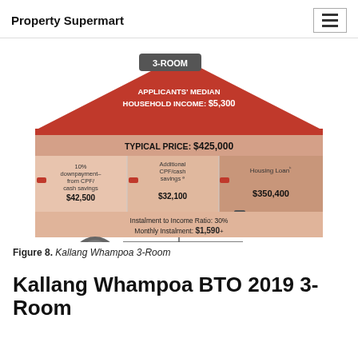Property Supermart
[Figure (infographic): House-shaped infographic for Kallang Whampoa 3-Room BTO. Shows: 3-ROOM badge, Applicants' Median Household Income: $5,300, Typical Price: $425,000, three cost components: 10% downpayment from CPF/cash savings $42,500; Additional CPF/cash savings $32,100; Housing Loan $350,400. Instalment to Income Ratio: 30%, Monthly Instalment: $1,590+. CPF OA monthly contribution $1,219 (up to $1,219), Cash: $371. Tip: Pay more in cash, save more in CPF OA.]
Figure 8. Kallang Whampoa 3-Room
Kallang Whampoa BTO 2019 3-Room